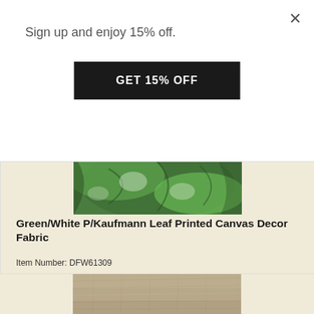Sign up and enjoy 15% off.
GET 15% OFF
[Figure (photo): Green leaf printed canvas fabric close-up photo]
Green/White P/Kaufmann Leaf Printed Canvas Decor Fabric
Item Number: DFW61309
-Painterly style leaf print canvas woven fabric -Weight: Medium-Transparency: Opaque-Hand: Dry-Stretch: No Stretch-Drape: Full Body Drape-Luster: Matte-End Uses: Heavy Drapery, Light Upholstery, Home ...
$12.95 / Yard
[Figure (photo): Tan/beige canvas fabric close-up photo]